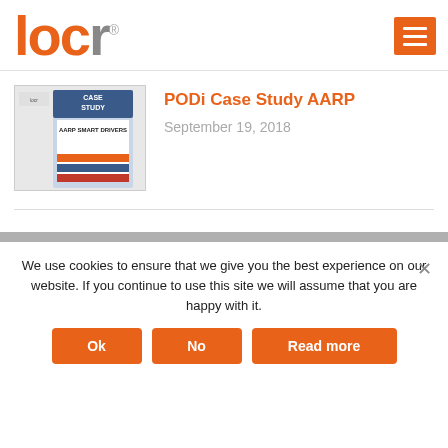locr® [logo with menu icon]
PODi Case Study AARP
September 19, 2018
[Figure (illustration): Thumbnail image of a case study booklet titled 'AARP Smart Drivers' with a blue and white cover design]
We use cookies to ensure that we give you the best experience on our website. If you continue to use this site we will assume that you are happy with it.
Ok   No   Read more